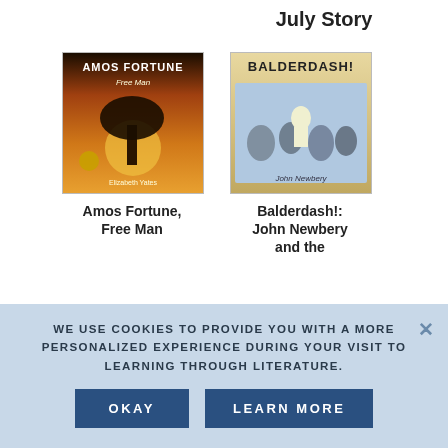July Story
[Figure (illustration): Book cover: Amos Fortune, Free Man by Elizabeth Yates. Dark orange/brown background with a tree silhouette.]
Amos Fortune, Free Man
[Figure (illustration): Book cover: Balderdash!: John Newbery and the. Colorful illustration with a crowd scene.]
Balderdash!: John Newbery and the
[Figure (illustration): Book cover: Ring of Days. Purple/pink cover with a figure wearing a headscarf.]
[Figure (illustration): Book cover: Rachel Field. Blue cover with snowy tree and bird.]
WE USE COOKIES TO PROVIDE YOU WITH A MORE PERSONALIZED EXPERIENCE DURING YOUR VISIT TO LEARNING THROUGH LITERATURE.
OKAY
LEARN MORE